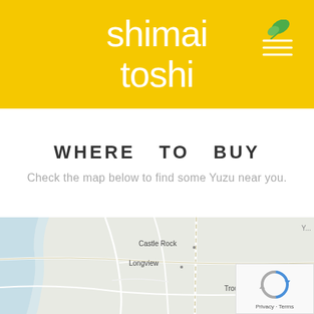[Figure (logo): Shimai Toshi logo on yellow background with white text and green leaf icon with hamburger menu lines]
WHERE TO BUY
Check the map below to find some Yuzu near you.
[Figure (map): Google Maps partial view showing Castle Rock, Longview, Trout Lake area with roads and reCAPTCHA widget overlay]